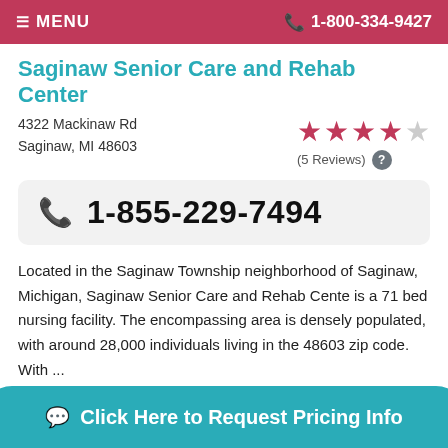MENU   1-800-334-9427
Saginaw Senior Care and Rehab Center
4322 Mackinaw Rd
Saginaw, MI 48603
[Figure (other): 4-star rating display with 5 reviews]
1-855-229-7494
Located in the Saginaw Township neighborhood of Saginaw, Michigan, Saginaw Senior Care and Rehab Cente is a 71 bed nursing facility. The encompassing area is densely populated, with around 28,000 individuals living in the 48603 zip code. With ...
19 miles away from Chesaning, MI
Click Here to Request Pricing Info